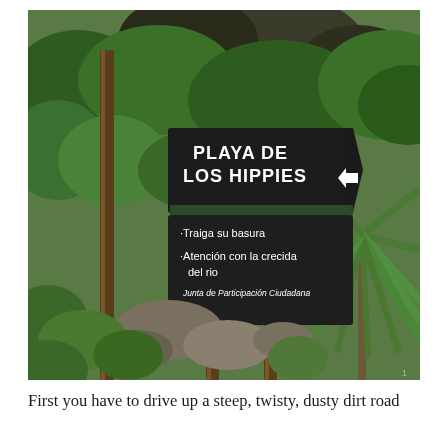[Figure (photo): Outdoor photograph showing two wooden signs mounted on posts in a lush green forest/hillside setting. The upper sign reads 'PLAYA DE LOS HIPPIES' with an upward arrow in white text on dark background. The lower sign reads '.Traiga su basura / .Atención con la crecida del rio / Junta de Participación Ciudadana' in white text on dark background. Large rocks, green shrubs, trees, and a yucca or agave plant are visible in the background.]
First you have to drive up a steep, twisty, dusty dirt road